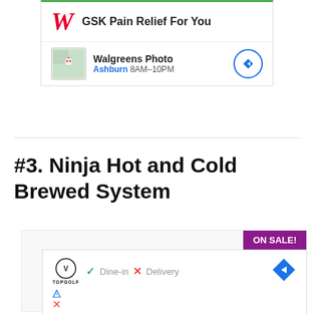[Figure (screenshot): Walgreens ad: GSK Pain Relief For You with W logo]
[Figure (screenshot): Walgreens Photo location ad showing Ashburn 8AM-10PM with map thumbnail and navigation arrow]
#3. Ninja Hot and Cold Brewed System
[Figure (photo): Product image of Ninja Hot and Cold Brewed System with ON SALE! banner in purple]
[Figure (screenshot): TopGolf ad showing Dine-in checkmark and Delivery X mark with navigation diamond icon]